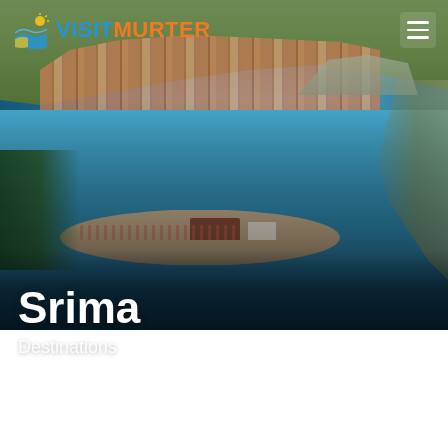[Figure (photo): Aerial photograph of Srima, Croatia, showing a coastal town with red-roofed buildings, a sandy beach peninsula jutting into the blue Adriatic Sea, with lush green trees on the left and rocky coastline on the right.]
VISIT MURTER
Srima
Destinations